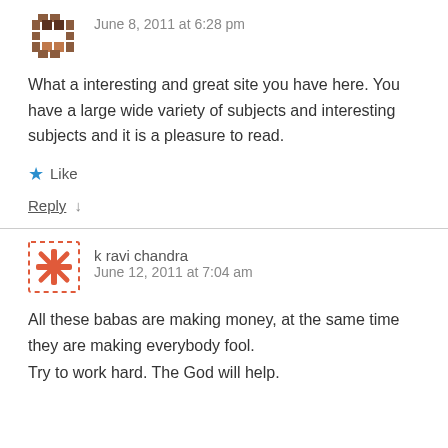[Figure (illustration): Brown geometric/pixel avatar icon for first commenter]
June 8, 2011 at 6:28 pm
What a interesting and great site you have here. You have a large wide variety of subjects and interesting subjects and it is a pleasure to read.
★ Like
Reply ↓
[Figure (illustration): Red snowflake/asterisk avatar icon for k ravi chandra]
k ravi chandra
June 12, 2011 at 7:04 am
All these babas are making money, at the same time they are making everybody fool.
Try to work hard. The God will help.